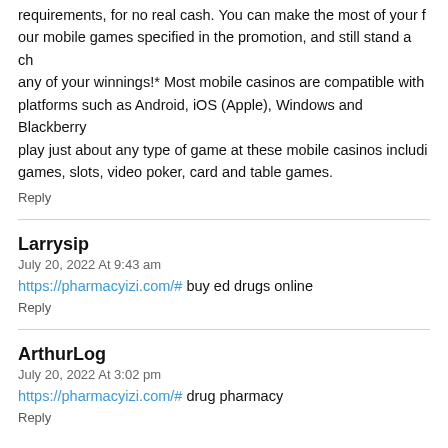requirements, for no real cash. You can make the most of your bonus on our mobile games specified in the promotion, and still stand a chance to win any of your winnings!* Most mobile casinos are compatible with major platforms such as Android, iOS (Apple), Windows and Blackberry. You can play just about any type of game at these mobile casinos including: scratch games, slots, video poker, card and table games.
Reply
Larrysip
July 20, 2022 At 9:43 am
https://pharmacyizi.com/# buy ed drugs online
Reply
ArthurLog
July 20, 2022 At 3:02 pm
https://pharmacyizi.com/# drug pharmacy
Reply